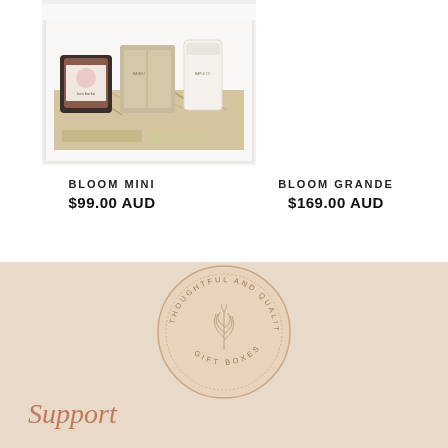[Figure (photo): Gift box product photo showing open white box with jam jar, beige pouch, small white candle tube, and kraft paper items on shredded paper filler]
BLOOM MINI
$99.00 AUD
BLOOM GRANDE
$169.00 AUD
[Figure (logo): Circular badge/stamp logo reading THOUGHTFUL AND QUALITY around the top and GIFT BOXES around the bottom, with a leaf/botanical illustration in the center, beige/tan color scheme]
Support